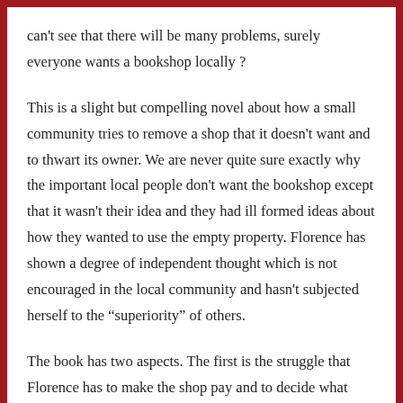can't see that there will be many problems, surely everyone wants a bookshop locally ?
This is a slight but compelling novel about how a small community tries to remove a shop that it doesn't want and to thwart its owner. We are never quite sure exactly why the important local people don't want the bookshop except that it wasn't their idea and they had ill formed ideas about how they wanted to use the empty property. Florence has shown a degree of independent thought which is not encouraged in the local community and hasn't subjected herself to the “superiority” of others.
The book has two aspects. The first is the struggle that Florence has to make the shop pay and to decide what books to stock. The descriptions of